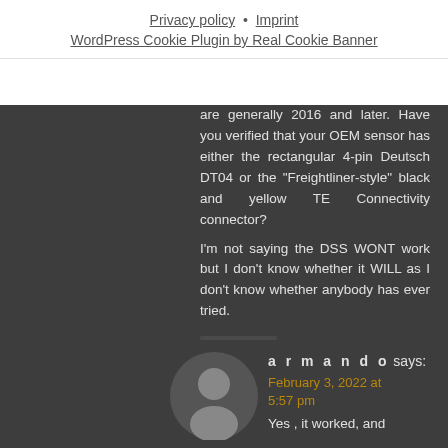Privacy policy • Imprint
WordPress Cookie Plugin by Real Cookie Banner
are generally 2016 and later. Have you verified that your OEM sensor has either the rectangular 4-pin Deutsch DT04 or the "Freightliner-style" black and yellow TE Connectivity connector?
I'm not saying the DSS WONT work but I don't know whether it WILL as I don't know whether anybody has ever tried.
Reply
armando says:
February 3, 2022 at 5:57 pm
Yes , it worked, and